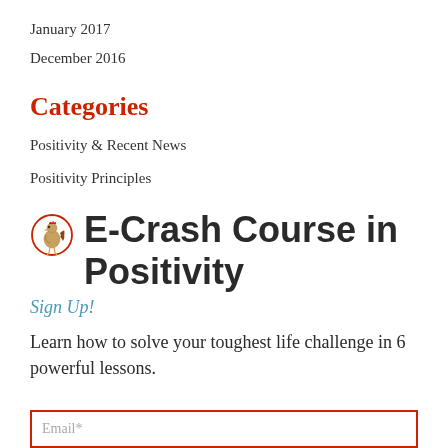January 2017
December 2016
Categories
Positivity & Recent News
Positivity Principles
[Figure (logo): Circular logo with a rooster/bird figure, red outline]
E-Crash Course in Positivity
Sign Up!
Learn how to solve your toughest life challenge in 6 powerful lessons.
Email*